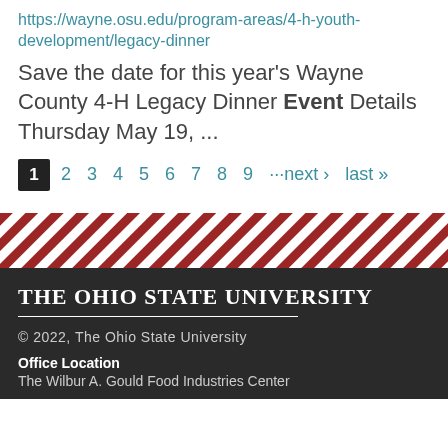https://wayne.osu.edu/program-areas/4-h-youth-development/legacy-dinner
Save the date for this year's Wayne County 4-H Legacy Dinner Event Details Thursday May 19, ...
1 2 3 4 5 6 7 8 9 ···next › last »
[Figure (other): Diagonal red and white striped decorative bar (Ohio State University branding element)]
The Ohio State University
© 2022, The Ohio State University
Office Location
The Wilbur A. Gould Food Industries Center